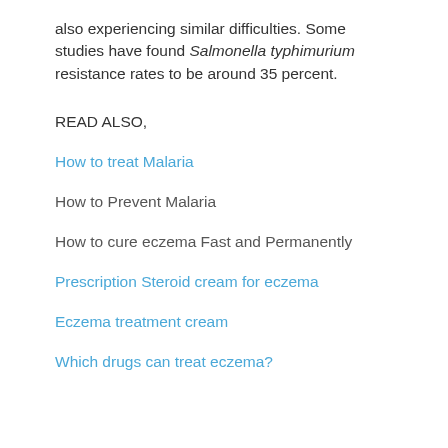also experiencing similar difficulties. Some studies have found Salmonella typhimurium resistance rates to be around 35 percent.
READ ALSO,
How to treat Malaria
How to Prevent Malaria
How to cure eczema Fast and Permanently
Prescription Steroid cream for eczema
Eczema treatment cream
Which drugs can treat eczema?